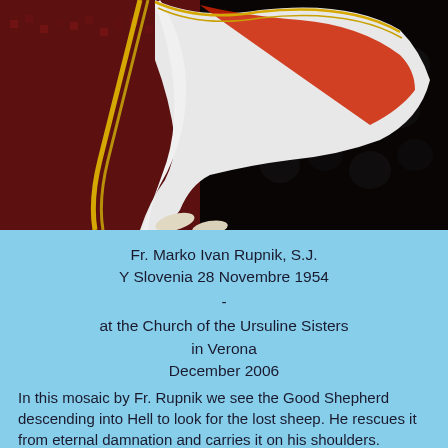[Figure (photo): Close-up of a mosaic artwork showing a figure (the Good Shepherd) with white and red garments on a dark background with red and gold decorative elements.]
Fr. Marko Ivan Rupnik, S.J.
Y Slovenia 28 Novembre 1954
-
at the Church of the Ursuline Sisters in Verona
December 2006
In this mosaic by Fr. Rupnik we see the Good Shepherd descending into Hell to look for the lost sheep. He rescues it from eternal damnation and carries it on his shoulders.
This takes place by means of the Cross, depicted here as in Eastern...